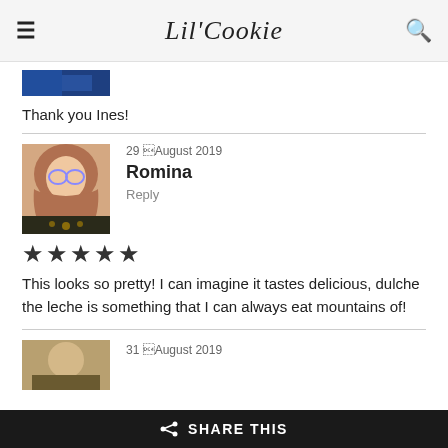Lil'Cookie
[Figure (photo): Partial thumbnail image visible at top of content area]
Thank you Ines!
29 ⌐August 2019
Romina
Reply
[Figure (photo): Profile photo of Romina wearing hijab and glasses]
★★★★★
This looks so pretty! I can imagine it tastes delicious, dulche the leche is something that I can always eat mountains of!
31 ⌐August 2019
[Figure (photo): Partial profile photo at bottom of page]
SHARE THIS